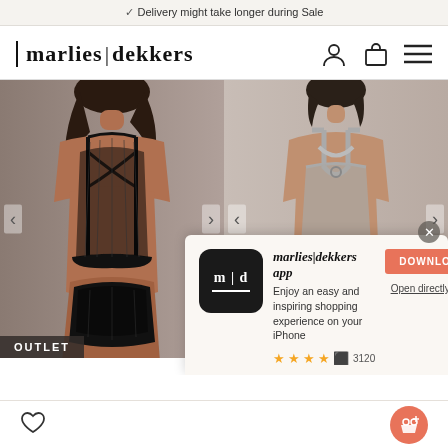Delivery might take longer during Sale
marlies|dekkers
[Figure (photo): E-commerce website screenshot showing marlies|dekkers lingerie brand page with two models wearing lingerie sets from behind - left model in black mesh bra and panty set, right model in grey/nude bra and panty set. An app download popup is overlaid on the bottom-right portion showing the marlies|dekkers app with download button and star rating of 3120 reviews.]
marlies|dekkers app
Enjoy an easy and inspiring shopping experience on your iPhone
DOWNLOAD
Open directly
3120